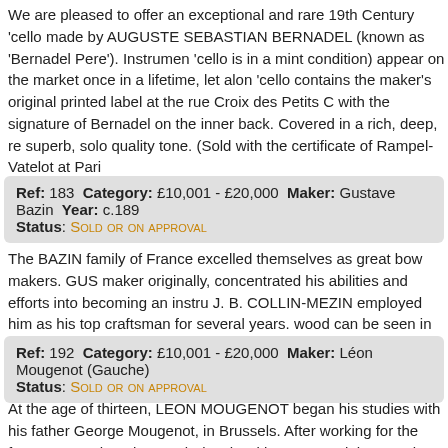We are pleased to offer an exceptional and rare 19th Century 'cello made by AUGUSTE SEBASTIAN BERNADEL (known as 'Bernadel Pere'). Instruments ('cello is in a mint condition) appear on the market once in a lifetime, let alone 'cello contains the maker's original printed label at the rue Croix des Petits C with the signature of Bernadel on the inner back. Covered in a rich, deep, re superb, solo quality tone. (Sold with the certificate of Rampel-Vatelot at Pari
| Ref: 183 | Category: £10,001 - £20,000 | Maker: Gustave Bazin | Year: c.189 |
| Status: | Sold or on approval |  |  |
The BAZIN family of France excelled themselves as great bow makers. GUS maker originally, concentrated his abilities and efforts into becoming an instr J. B. COLLIN-MEZIN employed him as his top craftsman for several years. wood can be seen in this 'cello from the 1890s. It is in an almost mint condit and has a superb tone.
| Ref: 192 | Category: £10,001 - £20,000 | Maker: Léon Mougenot (Gauche) |
| Status: | Sold or on approval |  |
At the age of thirteen, LEON MOUGENOT began his studies with his father George Mougenot, in Brussels. After working for the famous French maker Paul Blanchard in Lyons and then Paul Jombar in Paris, he removed to London and spent a few years with the World renown firm of W. E. Hill &